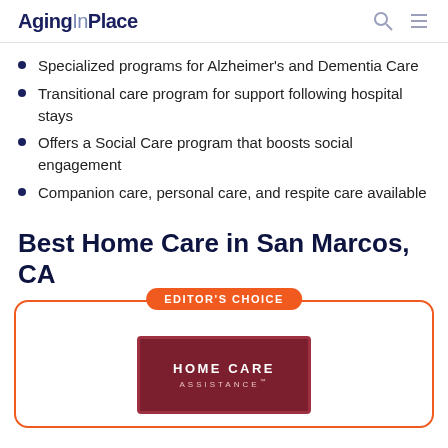AgingInPlace
Specialized programs for Alzheimer's and Dementia Care
Transitional care program for support following hospital stays
Offers a Social Care program that boosts social engagement
Companion care, personal care, and respite care available
Best Home Care in San Marcos, CA
[Figure (logo): Editor's Choice badge above a card containing the Home Care Assistance logo — a dark red rectangle with 'HOME CARE ASSISTANCE' text in white]
EDITOR'S CHOICE